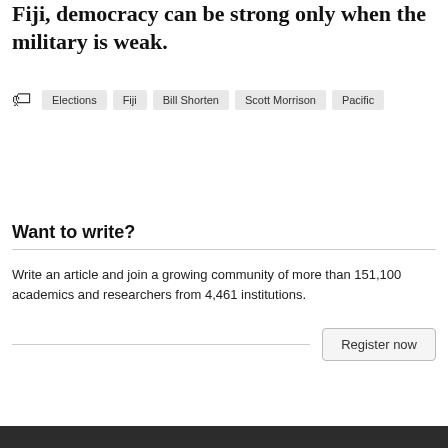Fiji, democracy can be strong only when the military is weak.
Elections
Fiji
Bill Shorten
Scott Morrison
Pacific
Want to write?
Write an article and join a growing community of more than 151,100 academics and researchers from 4,461 institutions.